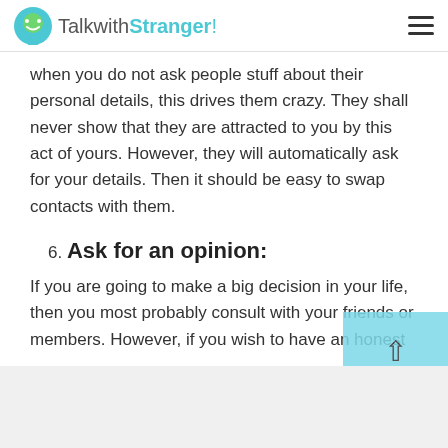TalkwithStranger!
when you do not ask people stuff about their personal details, this drives them crazy. They shall never show that they are attracted to you by this act of yours. However, they will automatically ask for your details. Then it should be easy to swap contacts with them.
6. Ask for an opinion:
If you are going to make a big decision in your life, then you most probably consult with your friends or members. However, if you wish to have an honest